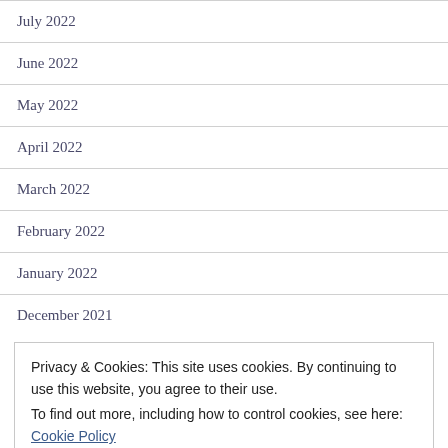July 2022
June 2022
May 2022
April 2022
March 2022
February 2022
January 2022
December 2021
Privacy & Cookies: This site uses cookies. By continuing to use this website, you agree to their use.
To find out more, including how to control cookies, see here:
Cookie Policy
Close and accept